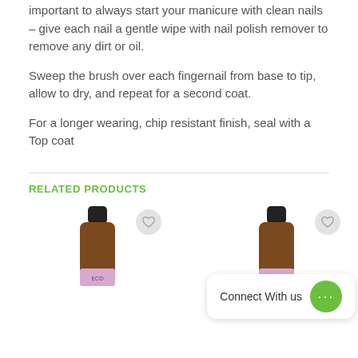To get the most out of ANNMINI ECO Free nail polish, it's important to always start your manicure with clean nails – give each nail a gentle wipe with nail polish remover to remove any dirt or oil.
Sweep the brush over each fingernail from base to tip, allow to dry, and repeat for a second coat.
For a longer wearing, chip resistant finish, seal with a Top coat
RELATED PRODUCTS
[Figure (photo): Two small amber glass essential oil bottles with black caps and pink/purple labels, shown in a related products section. A 'Connect With us' chat bubble appears in the foreground with a green chat icon.]